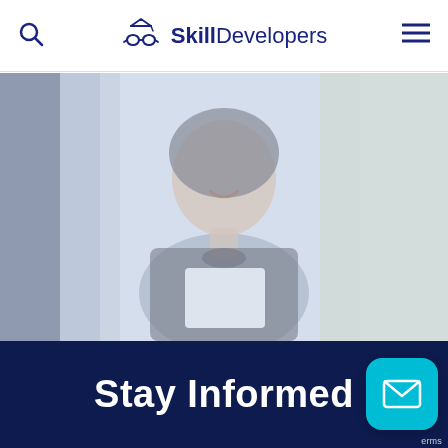Skill Developers navigation bar with search icon, logo, and menu icon
[Figure (photo): A smiling young woman in a black outfit holding a white tablet or notebook, seated outdoors with blurred greenery in the background. The image has a faded/washed-out overlay effect.]
Stay Informed
[Figure (other): Teal rounded square button with a white envelope/mail icon]